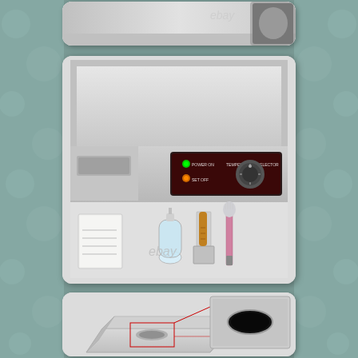[Figure (photo): Top partial card showing top of electric griddle with eBay watermark and partial image of a person/product]
[Figure (photo): Middle card showing stainless steel electric flat top griddle with control panel (temperature knob, power indicators), a spatula, oil bottle, and instruction manual laid in front. eBay watermark visible.]
[Figure (photo): Bottom card showing close-up detail of the griddle grease trap/drain trough with an inset zoomed image of the oval grease drain slot.]